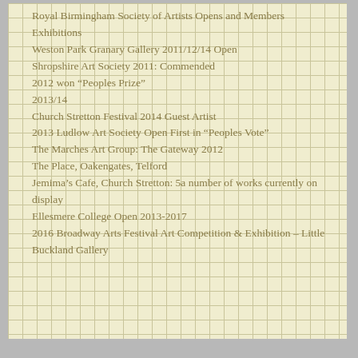Royal Birmingham Society of Artists Opens and Members Exhibitions
Weston Park Granary Gallery 2011/12/14 Open
Shropshire Art Society 2011: Commended
2012 won “Peoples Prize”
2013/14
Church Stretton Festival 2014 Guest Artist
2013 Ludlow Art Society Open First in “Peoples Vote”
The Marches Art Group: The Gateway 2012
The Place, Oakengates, Telford
Jemima’s Cafe, Church Stretton: 5a number of works currently on display
Ellesmere College Open 2013-2017
2016 Broadway Arts Festival Art Competition & Exhibition – Little Buckland Gallery